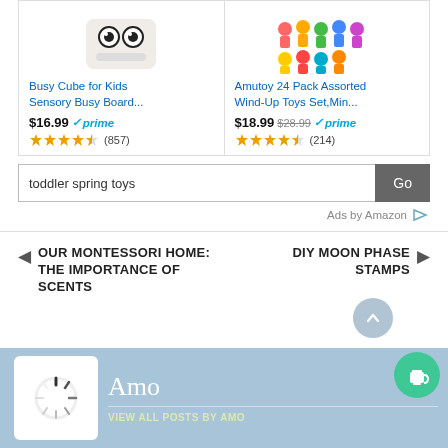[Figure (screenshot): Amazon product listing: Busy Cube for Kids Sensory Busy Board with toy image]
Busy Cube for Kids Sensory Busy Board...
$16.99 prime (857 reviews, 4.5 stars)
[Figure (screenshot): Amazon product listing: Amutoy 24 Pack Assorted Wind-Up Toys Set,Min... with toy image]
Amutoy 24 Pack Assorted Wind-Up Toys Set,Min...
$18.99 $28.99 prime (214 reviews, 4.5 stars)
toddler spring toys
Go
Ads by Amazon
← OUR MONTESSORI HOME: THE IMPORTANCE OF SCENTS
DIY MOON PHASE STAMPS →
Amo
VIEW ALL POSTS BY Amo